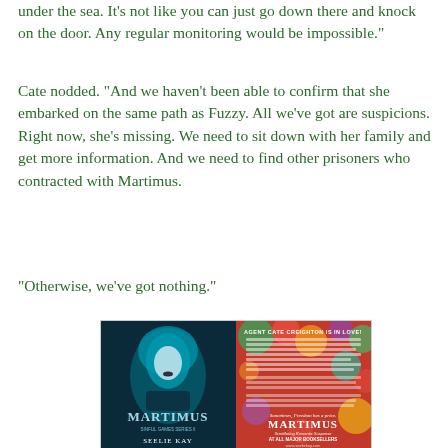under the sea. It’s not like you can just go down there and knock on the door. Any regular monitoring would be impossible.”
Cate nodded. “And we haven’t been able to confirm that she embarked on the same path as Fuzzy. All we’ve got are suspicions. Right now, she’s missing. We need to sit down with her family and get more information. And we need to find other prisoners who contracted with Martimus.
“Otherwise, we’ve got nothing.”
[Figure (illustration): Book cover advertisement for MARTIMUS by Seelie Kay, showing a woman with teal-colored hair on the left side and colorful floral background on the right with text describing the book. Subtitle reads 'Scintillating Romantic Suspense'. Bottom text says 'AT ALL MAJOR BOOKSELLERS www.seeliekay.com'. Tagline: 'Sometimes, Freedom has a price.']